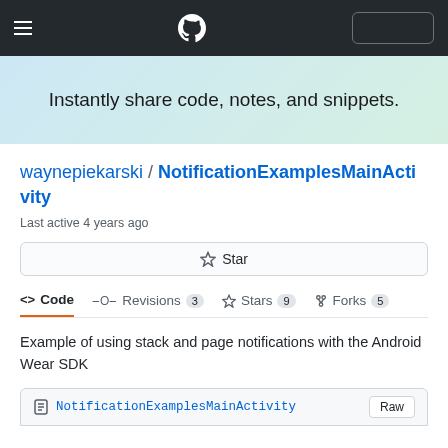GitHub navigation bar with hamburger menu, GitHub logo, and button
Instantly share code, notes, and snippets.
waynepiekarski / NotificationExamplesMainActivity
Last active 4 years ago
Star
<> Code   Revisions 3   Stars 9   Forks 5
Example of using stack and page notifications with the Android Wear SDK
NotificationExamplesMainActivity   Raw